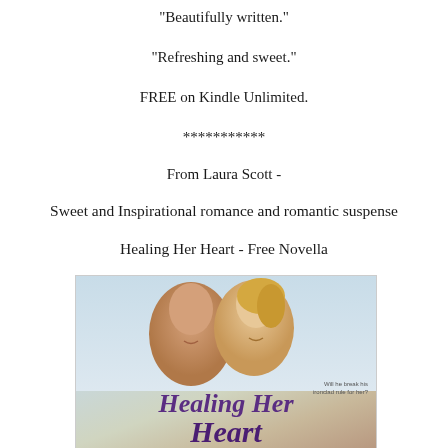"Beautifully written."
"Refreshing and sweet."
FREE on Kindle Unlimited.
***********
From Laura Scott -
Sweet and Inspirational romance and romantic suspense
Healing Her Heart - Free Novella
[Figure (photo): Book cover for 'Healing Her Heart' showing a smiling couple (man and woman) with purple script title text. Labeled 'Book One'. Tagline reads 'Will he break his ironclad rule for her?']